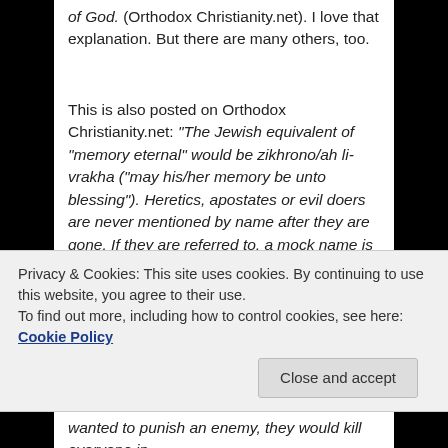of God. (Orthodox Christianity.net). I love that explanation. But there are many others, too.
This is also posted on Orthodox Christianity.net: "The Jewish equivalent of "memory eternal" would be zikhrono/ah li-vrakha ("may his/her memory be unto blessing"). Heretics, apostates or evil doers are never mentioned by name after they are gone. If they are referred to, a mock name is used instead (I guess that explains why some call Our Lord "Yoshke"). Also, on
Privacy & Cookies: This site uses cookies. By continuing to use this website, you agree to their use.
To find out more, including how to control cookies, see here: Cookie Policy
wanted to punish an enemy, they would kill everyone in